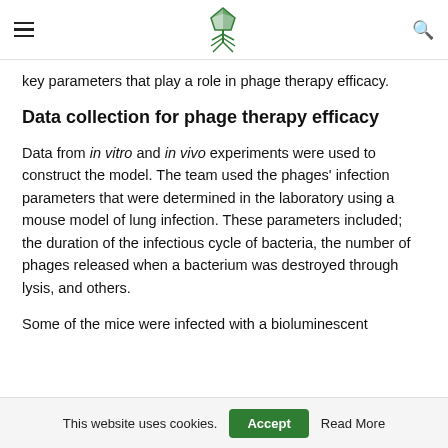Navigation header with hamburger menu, phage/bacteriophage logo, and search icon
key parameters that play a role in phage therapy efficacy.
Data collection for phage therapy efficacy
Data from in vitro and in vivo experiments were used to construct the model. The team used the phages' infection parameters that were determined in the laboratory using a mouse model of lung infection. These parameters included; the duration of the infectious cycle of bacteria, the number of phages released when a bacterium was destroyed through lysis, and others.
Some of the mice were infected with a bioluminescent
This website uses cookies. Accept Read More